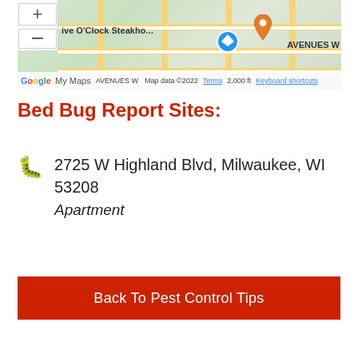[Figure (map): Google My Maps screenshot showing a street map with zoom controls, a blue diamond marker, an orange pin marker near 'Five O'Clock Steakhouse', and the label 'AVENUES W'. Map data ©2022, scale 2,000 ft.]
Bed Bug Report Sites:
2725 W Highland Blvd, Milwaukee, WI 53208
Apartment
Back To Pest Control Tips